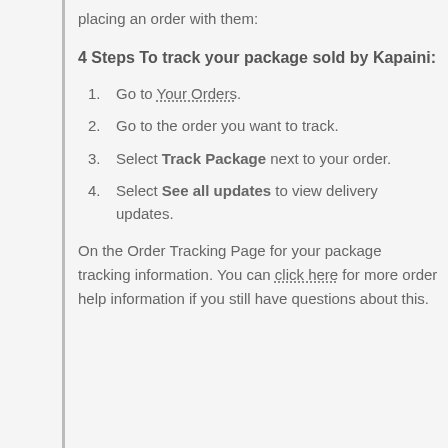placing an order with them:
4 Steps To track your package sold by Kapaini:
Go to Your Orders.
Go to the order you want to track.
Select Track Package next to your order.
Select See all updates to view delivery updates.
On the Order Tracking Page for your package tracking information. You can click here for more order help information if you still have questions about this.